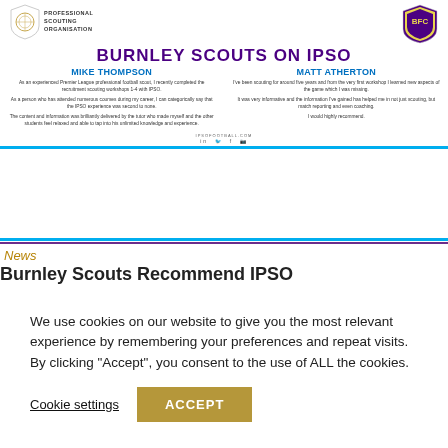[Figure (logo): IPSO shield logo with globe and 'PROFESSIONAL SCOUTING ORGANISATION' text]
[Figure (logo): Burnley FC shield/crest logo]
BURNLEY SCOUTS ON IPSO
MIKE THOMPSON
As an experienced Premier League professional football scout, I recently completed the recruitment scouting workshops 1-4 with IPSO.
As a person who has attended numerous courses during my career, I can categorically say that the IPSO experience was second to none.
The content and information was brilliantly delivered by the tutor who made myself and the other students feel relaxed and able to tap into his unlimited knowledge and experience.
MATT ATHERTON
I've been scouting for around five years and from the very first workshop I learned new aspects of the game which I was missing.
It was very informative and the information I've gained has helped me in not just scouting, but match reporting and even coaching.
I would highly recommend.
IPSOFOOTBALL.COM
News
Burnley Scouts Recommend IPSO
We use cookies on our website to give you the most relevant experience by remembering your preferences and repeat visits. By clicking “Accept”, you consent to the use of ALL the cookies.
Cookie settings
ACCEPT